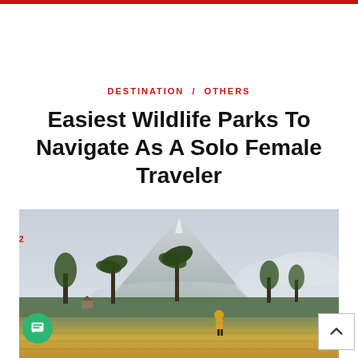DESTINATION / OTHERS
Easiest Wildlife Parks To Navigate As A Solo Female Traveler
[Figure (photo): A person in a yellow jacket standing in a rice paddy field with a large volcanic mountain (Mayon Volcano) in the background, surrounded by palm trees and tropical vegetation, with mist and clouds around the mountain.]